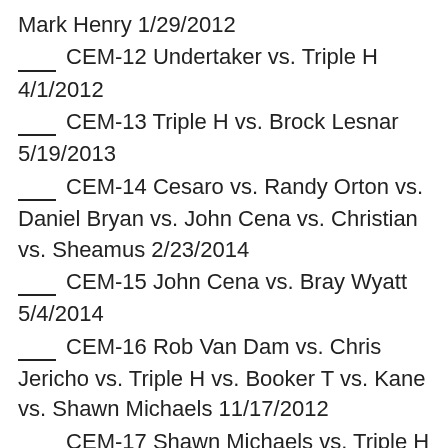Mark Henry 1/29/2012
___ CEM-12 Undertaker vs. Triple H 4/1/2012
___ CEM-13 Triple H vs. Brock Lesnar 5/19/2013
___ CEM-14 Cesaro vs. Randy Orton vs. Daniel Bryan vs. John Cena vs. Christian vs. Sheamus 2/23/2014
___ CEM-15 John Cena vs. Bray Wyatt 5/4/2014
___ CEM-16 Rob Van Dam vs. Chris Jericho vs. Triple H vs. Booker T vs. Kane vs. Shawn Michaels 11/17/2012
___ CEM-17 Shawn Michaels vs. Triple H 6/13/2004
___ CEM-18 Dean Ambrose vs. Seth Rollins 10/26/2014
___ CEM-19 Randy Orton vs. Seth Rollin...